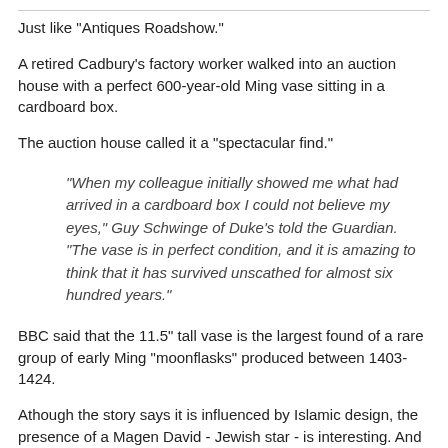Just like "Antiques Roadshow."
A retired Cadbury's factory worker walked into an auction house with a perfect 600-year-old Ming vase sitting in a cardboard box.
The auction house called it a "spectacular find."
"When my colleague initially showed me what had arrived in a cardboard box I could not believe my eyes," Guy Schwinge of Duke's told the Guardian. "The vase is in perfect condition, and it is amazing to think that it has survived unscathed for almost six hundred years."
BBC said that the 11.5" tall vase is the largest found of a rare group of early Ming "moonflasks" produced between 1403-1424.
Athough the story says it is influenced by Islamic design, the presence of a Magen David - Jewish star - is interesting. And